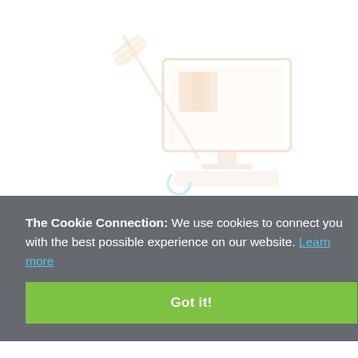[Figure (illustration): A faded illustration of a computer setup with a monitor, keyboard, and cleaning brush/mop, suggesting computer cleaning. A blue circular loading/spinner arc appears below the image.]
The Cookie Connection: We use cookies to connect you with the best possible experience on our website. Learn more
Got it!